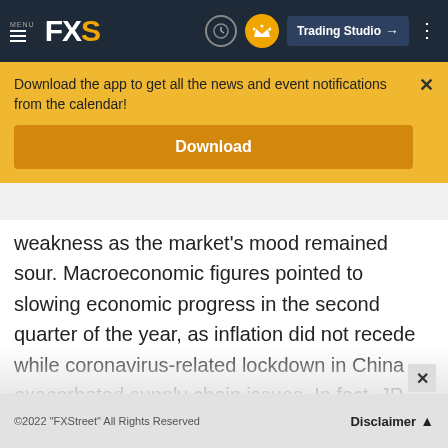MENU FXS | Trading Studio
Download the app to get all the news and event notifications from the calendar!
Download
weakness as the market's mood remained sour. Macroeconomic figures pointed to slowing economic progress in the second quarter of the year, as inflation did not recede while coronavirus-related lockdown in China exacerbated supply chain issues. In fact, JP Morgan
©2022 "FXStreet" All Rights Reserved  Disclaimer ▲